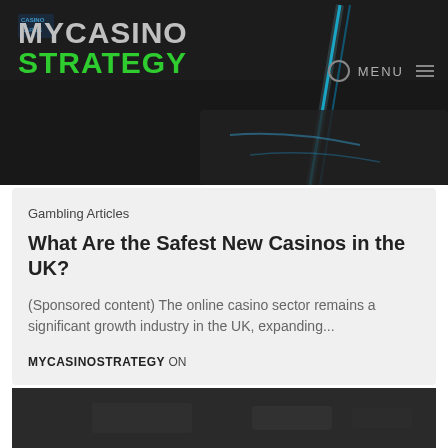[Figure (photo): Dark casino-themed header image with neon blue light spelling out 'Casino' on a dark background, used as website header banner]
MYCASINO STRATEGY — MENU
Gambling Articles
What Are the Safest New Casinos in the UK?
(Sponsored content) The online casino sector remains a significant growth industry in the UK, expanding...
MYCASINOSTRATEGY ON
[Figure (photo): Dark blurred casino background image at the bottom of the page]